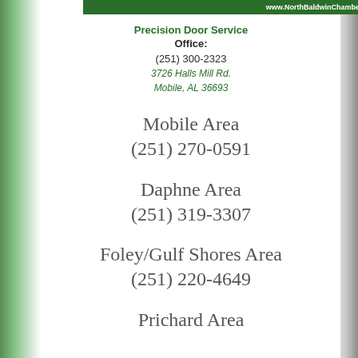www.NorthBaldwinChamber.com
Precision Door Service
Office:
(251) 300-2323
3726 Halls Mill Rd.
Mobile, AL 36693
Mobile Area
(251) 270-0591
Daphne Area
(251) 319-3307
Foley/Gulf Shores Area
(251) 220-4649
Prichard Area